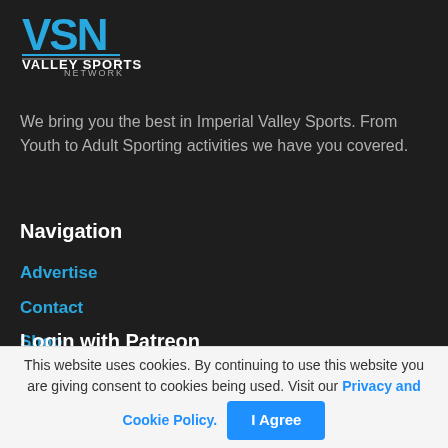[Figure (logo): Valley Sports Network (VSN) logo with blue and white text on dark background]
We bring you the best in Imperial Valley Sports. From Youth to Adult Sporting activities we have you covered.
Navigation
Advertise
Contact
Shop
Submit Event
Login with Patreon
This website uses cookies. By continuing to use this website you are giving consent to cookies being used. Visit our Privacy and Cookie Policy.